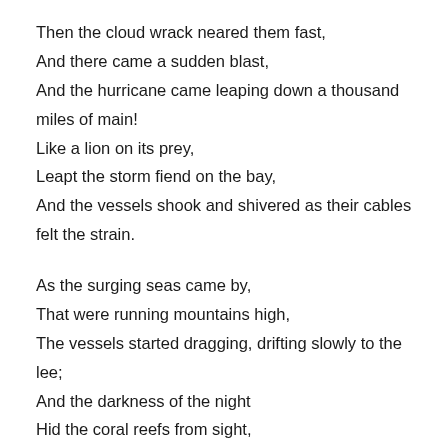Then the cloud wrack neared them fast,
And there came a sudden blast,
And the hurricane came leaping down a thousand miles of main!
Like a lion on its prey,
Leapt the storm fiend on the bay,
And the vessels shook and shivered as their cables felt the strain.

As the surging seas came by,
That were running mountains high,
The vessels started dragging, drifting slowly to the lee;
And the darkness of the night
Hid the coral reefs from sight,
And the Captains dared not risk the chance to grope their way to sea.